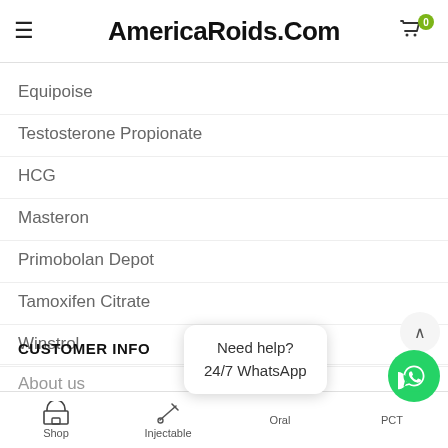AmericaRoids.Com
Equipoise
Testosterone Propionate
HCG
Masteron
Primobolan Depot
Tamoxifen Citrate
Winstrol
CUSTOMER INFO
About us
Need help?
24/7 WhatsApp
Shop | Injectable | Oral | PCT